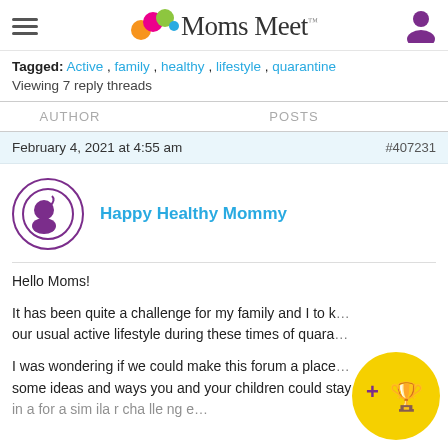Moms Meet
Tagged: Active, family, healthy, lifestyle, quarantine
Viewing 7 reply threads
AUTHOR   POSTS
February 4, 2021 at 4:55 am   #407231
Happy Healthy Mommy
Hello Moms!

It has been quite a challenge for my family and I to k... our usual active lifestyle during these times of quara...

I was wondering if we could make this forum a place... some ideas and ways you and your children could stay active...